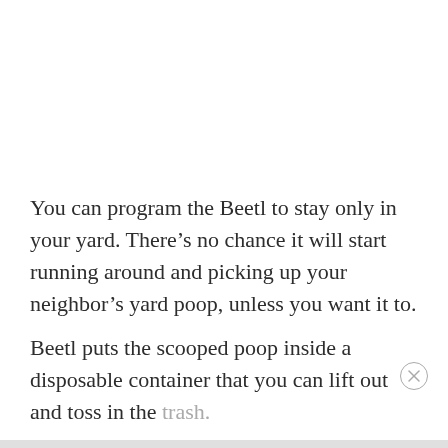You can program the Beetl to stay only in your yard. There’s no chance it will start running around and picking up your neighbor’s yard poop, unless you want it to.
Beetl puts the scooped poop inside a disposable container that you can lift out and toss in the trash.